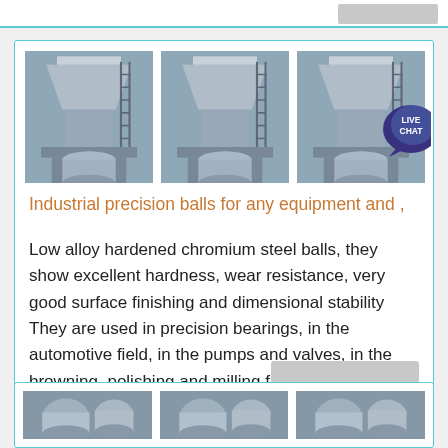[Figure (photo): Three industrial precision ball manufacturing machines shown in a row]
Industrial precision balls for any equipment and ,
Low alloy hardened chromium steel balls, they show excellent hardness, wear resistance, very good surface finishing and dimensional stability They are used in precision bearings, in the automotive field, in the pumps and valves, in the browning, polishing and milling fields
[Figure (other): Get Price button]
[Figure (photo): Three industrial machines shown partially at the bottom of the page]